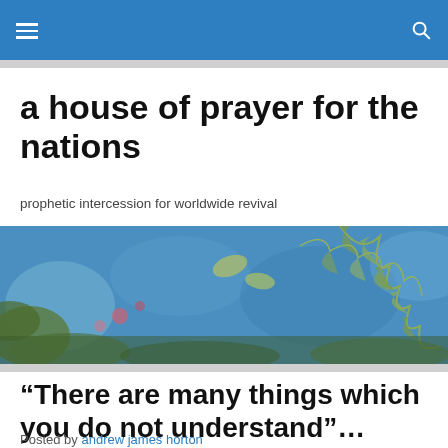a house of prayer for the nations
prophetic intercession for worldwide revival
[Figure (photo): Close-up nature photograph showing fern leaves and foliage with blue and green tones, blurred bokeh background]
“There are many things which you do not understand”…
Posted by andrew james horton